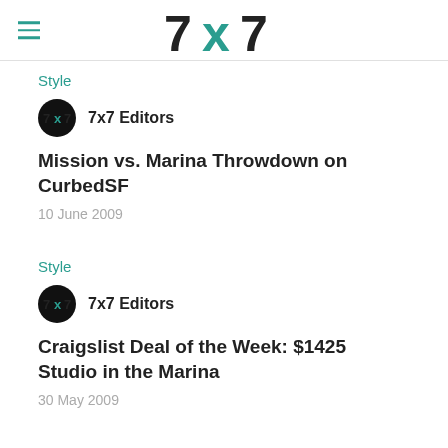7x7
Style
7x7 Editors
Mission vs. Marina Throwdown on CurbedSF
10 June 2009
Style
7x7 Editors
Craigslist Deal of the Week: $1425 Studio in the Marina
30 May 2009